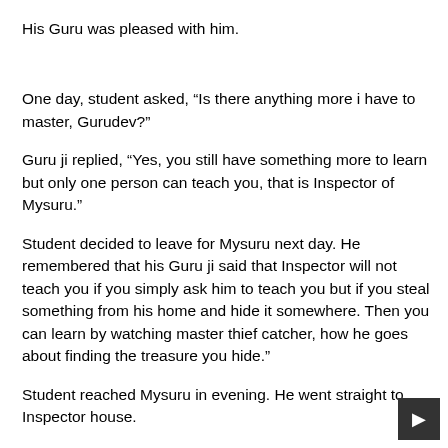His Guru was pleased with him.
One day, student asked, “Is there anything more i have to master, Gurudev?”
Guru ji replied, “Yes, you still have something more to learn but only one person can teach you, that is Inspector of Mysuru.”
Student decided to leave for Mysuru next day. He remembered that his Guru ji said that Inspector will not teach you if you simply ask him to teach you but if you steal something from his home and hide it somewhere. Then you can learn by watching master thief catcher, how he goes about finding the treasure you hide.”
Student reached Mysuru in evening. He went straight to Inspector house.
Inspector received him with honor due to a guest. He invited student for dinner and stay for night.